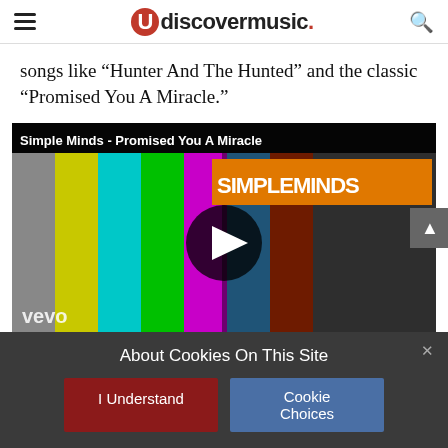udiscovermusic.
songs like “Hunter And The Hunted” and the classic “Promised You A Miracle.”
[Figure (screenshot): YouTube video thumbnail for Simple Minds - Promised You A Miracle, showing colorful TV test pattern bars with a musician playing bass guitar in black and white, and the SIMPLEMIDS logo in orange. VEVO watermark visible at bottom left. Large play button in center.]
About Cookies On This Site
I Understand
Cookie Choices